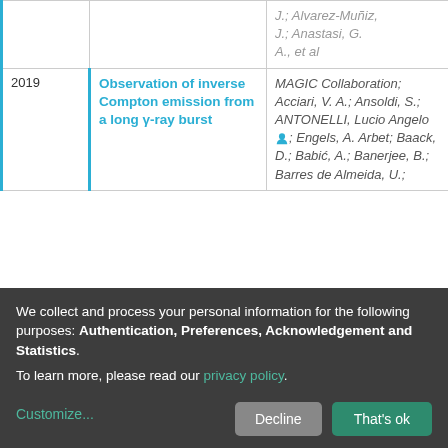| Year | Title | Authors | Access |
| --- | --- | --- | --- |
|  | J.; Alvarez-Muñiz, J.; Anastasi, G. A., et al |  |  |
| 2019 | Observation of inverse Compton emission from a long γ-ray burst | MAGIC Collaboration; Acciari, V. A.; Ansoldi, S.; ANTONELLI, Lucio Angelo; Engels, A. Arbet; Baack, D.; Babić, A.; Banerjee, B.; Barres de Almeida, U.; ... | open |
We collect and process your personal information for the following purposes: Authentication, Preferences, Acknowledgement and Statistics.
To learn more, please read our privacy policy.